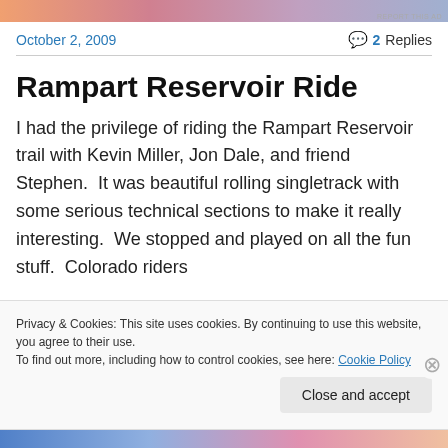[Figure (other): Top advertisement banner with gradient colors (orange, pink, purple, blue)]
REPORT THIS AD
October 2, 2009
2 Replies
Rampart Reservoir Ride
I had the privilege of riding the Rampart Reservoir trail with Kevin Miller, Jon Dale, and friend Stephen.  It was beautiful rolling singletrack with some serious technical sections to make it really interesting.  We stopped and played on all the fun stuff.  Colorado riders
Privacy & Cookies: This site uses cookies. By continuing to use this website, you agree to their use.
To find out more, including how to control cookies, see here: Cookie Policy
Close and accept
[Figure (other): Bottom advertisement banner with gradient colors (blue, light blue, pink, peach)]
REPORT THIS AD